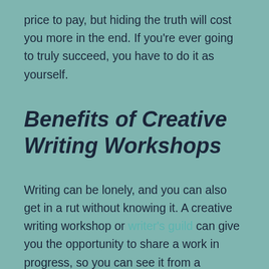price to pay, but hiding the truth will cost you more in the end. If you're ever going to truly succeed, you have to do it as yourself.
Benefits of Creative Writing Workshops
Writing can be lonely, and you can also get in a rut without knowing it. A creative writing workshop or writer's guild can give you the opportunity to share a work in progress, so you can see it from a reader's perspective. It lets